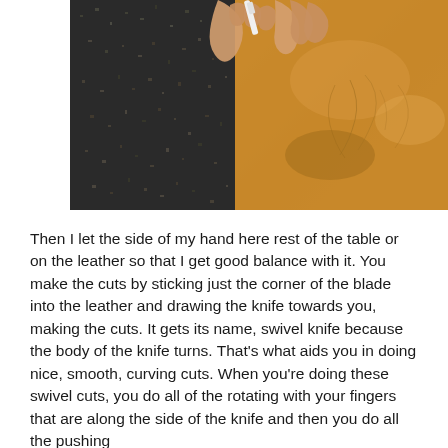[Figure (photo): Close-up photo of a person's hands using a swivel knife on tan/orange leather. The left half of the image shows a dark speckled surface (likely a cutting mat), and the right half shows tan leather with faint traced design lines. The person holds a swivel knife tool with fingers visible at the top.]
Then I let the side of my hand here rest of the table or on the leather so that I get good balance with it. You make the cuts by sticking just the corner of the blade into the leather and drawing the knife towards you, making the cuts. It gets its name, swivel knife because the body of the knife turns. That's what aids you in doing nice, smooth, curving cuts. When you're doing these swivel cuts, you do all of the rotating with your fingers that are along the side of the knife and then you do all the pushing